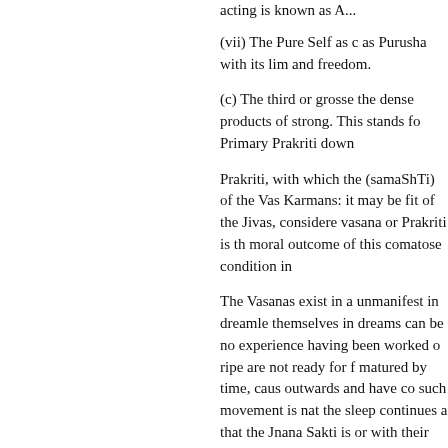acting is known as A...
(vii) The Pure Self as ... as Purusha with its lim... and freedom.
(c) The third or grosse... the dense products of... strong. This stands fo... Primary Prakriti down...
Prakriti, with which the... (samaShTi) of the Vas... Karmans: it may be fit... of the Jivas, considere... vasana or Prakriti is th... moral outcome of this... comatose condition in...
The Vasanas exist in a... unmanifest in dreamle... themselves in dreams... can be no experience... having been worked o... ripe are not ready for t... matured by time, caus... outwards and have co... such movement is nat... the sleep continues a... that the Jnana Sakti is... or with their eemblanc...